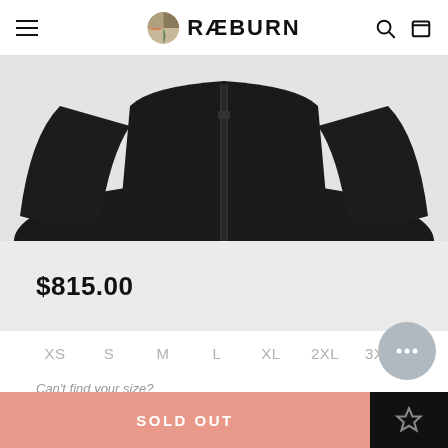RÆBURN
[Figure (photo): Product photo of a black zip-up jacket laid flat on a light gray background, showing the upper/shoulder area with a center zipper.]
$815.00
XS
S
M
L
XL
2XL
3XL
Can't find your size?
SOLD OUT